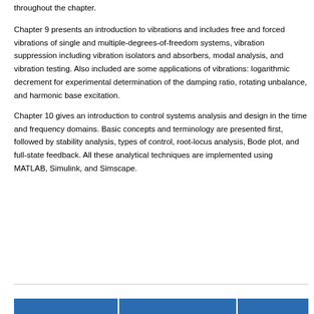throughout the chapter.
Chapter 9 presents an introduction to vibrations and includes free and forced vibrations of single and multiple-degrees-of-freedom systems, vibration suppression including vibration isolators and absorbers, modal analysis, and vibration testing. Also included are some applications of vibrations: logarithmic decrement for experimental determination of the damping ratio, rotating unbalance, and harmonic base excitation.
Chapter 10 gives an introduction to control systems analysis and design in the time and frequency domains. Basic concepts and terminology are presented first, followed by stability analysis, types of control, root-locus analysis, Bode plot, and full-state feedback. All these analytical techniques are implemented using MATLAB, Simulink, and Simscape.